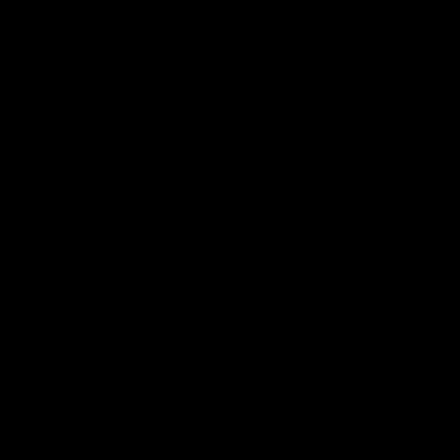[Figure (photo): Completely black image, no visible content]